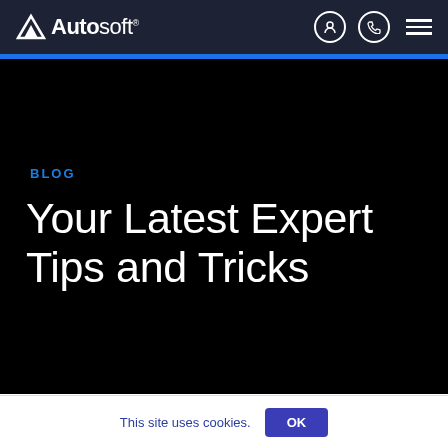Autosoft
BLOG
Your Latest Expert Tips and Tricks
Fixed Operations
This site uses cookies. OK